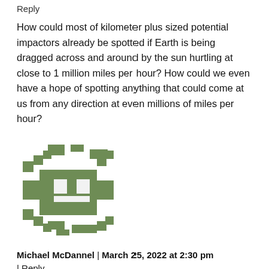Reply
How could most of kilometer plus sized potential impactors already be spotted if Earth is being dragged across and around by the sun hurtling at close to 1 million miles per hour? How could we even have a hope of spotting anything that could come at us from any direction at even millions of miles per hour?
[Figure (illustration): Green pixel-art style avatar icon for user Michael McDannel]
Michael McDannel | March 25, 2022 at 2:30 pm | Reply
67,500 mph not a million mph